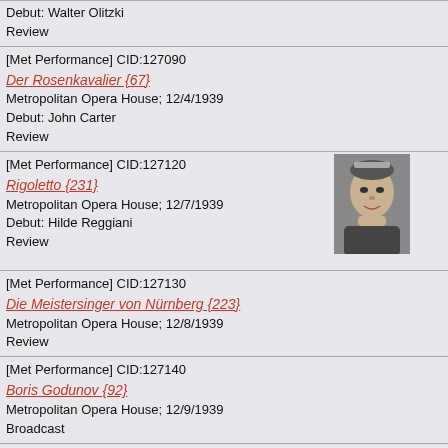Debut: Walter Olitzki
Review
[Met Performance] CID:127090
Der Rosenkavalier {67}
Metropolitan Opera House; 12/4/1939
Debut: John Carter
Review
[Figure (photo): Black and white portrait photo of a woman with tiara/crown]
[Met Performance] CID:127120
Rigoletto {231}
Metropolitan Opera House; 12/7/1939
Debut: Hilde Reggiani
Review
[Met Performance] CID:127130
Die Meistersinger von Nürnberg {223}
Metropolitan Opera House; 12/8/1939
Review
[Met Performance] CID:127140
Boris Godunov {92}
Metropolitan Opera House; 12/9/1939
Broadcast
[Met Performance] CID:127150
La Traviata {228}
Metropolitan Opera House; 12/9/1939
[Figure (photo): Black and white portrait photo of a man in formal attire]
[Met Performance] CID:127320